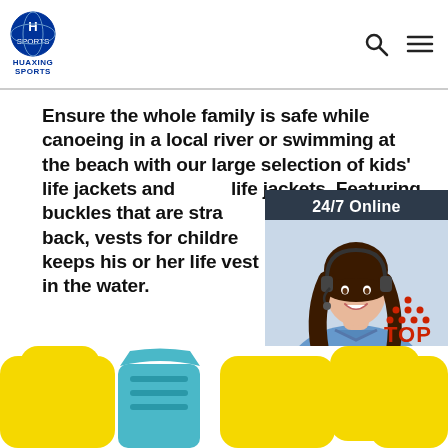HUAXING SPORTS
Ensure the whole family is safe while canoeing in a local river or swimming at the beach with our large selection of kids' life jackets and life jackets. Featuring buckles that are strapped located on the back, vests for children ensure your tiny tot keeps his or her life vest on when fidgeting in the water.
[Figure (photo): Customer service representative wearing headset, smiling, with 24/7 Online chat widget overlay showing QUOTATION button]
Get Price
[Figure (illustration): TOP button with orange dot arrows pointing up]
[Figure (photo): Blue and yellow children life jacket vest product image at bottom of page]